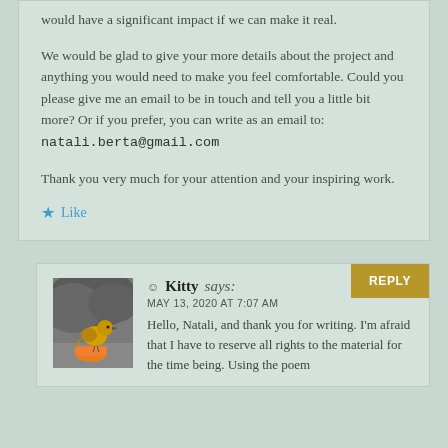would have a significant impact if we can make it real.
We would be glad to give your more details about the project and anything you would need to make you feel comfortable. Could you please give me an email to be in touch and tell you a little bit more? Or if you prefer, you can write as an email to: natali.berta@gmail.com
Thank you very much for your attention and your inspiring work.
Like
REPLY
[Figure (photo): Black and white photo of a yellow bird perched on or near an orange object]
Kitty says:
MAY 13, 2020 AT 7:07 AM
Hello, Natali, and thank you for writing. I'm afraid that I have to reserve all rights to the material for the time being. Using the poem